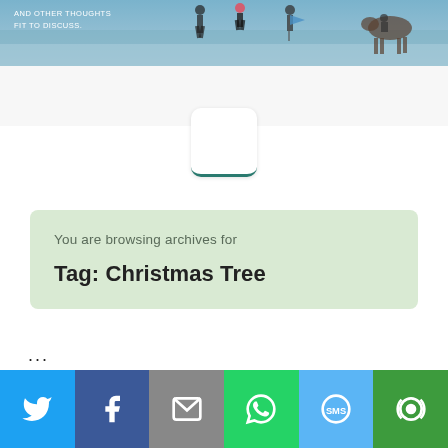[Figure (photo): Header banner with people walking on a beach, overlaid with text 'AND OTHER THOUGHTS FIT TO DISCUSS']
[Figure (logo): White rounded square logo box with teal bottom border]
You are browsing archives for
Tag: Christmas Tree
...
Social share bar with Twitter, Facebook, Email, WhatsApp, SMS, More buttons